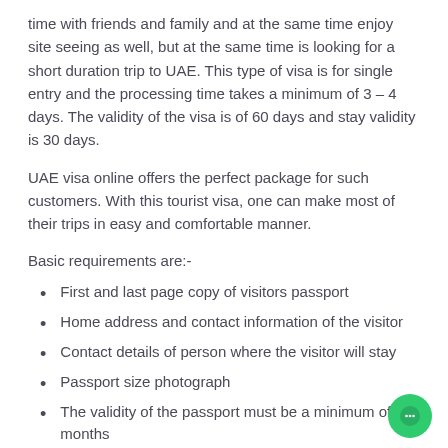time with friends and family and at the same time enjoy site seeing as well, but at the same time is looking for a short duration trip to UAE. This type of visa is for single entry and the processing time takes a minimum of 3 – 4 days. The validity of the visa is of 60 days and stay validity is 30 days.
UAE visa online offers the perfect package for such customers. With this tourist visa, one can make most of their trips in easy and comfortable manner.
Basic requirements are:-
First and last page copy of visitors passport
Home address and contact information of the visitor
Contact details of person where the visitor will stay
Passport size photograph
The validity of the passport must be a minimum of 6 months
90 DAY / TOURIST VISA (SINGLE ENTRY)